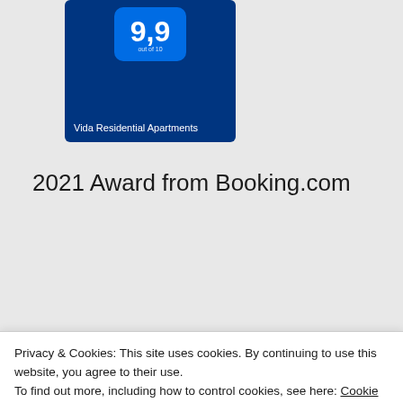[Figure (screenshot): Top portion of a Booking.com award card showing a 9.9 score badge on blue background with 'Vida Residential Apartments' text, partially cropped at top]
2021 Award from Booking.com
[Figure (screenshot): Booking.com Traveller Review Awards 2022 certificate card on dark blue background. Shows 'Awarded to' text, 'Vida Residential Apartments' in bold, Booking.com branding, and a 9.9 out of 10 score badge in lighter blue]
Privacy & Cookies: This site uses cookies. By continuing to use this website, you agree to their use.
To find out more, including how to control cookies, see here: Cookie Policy
Close and accept